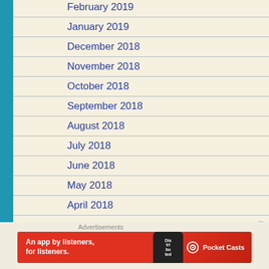February 2019
January 2019
December 2018
November 2018
October 2018
September 2018
August 2018
July 2018
June 2018
May 2018
April 2018
Advertisements
[Figure (screenshot): Pocket Casts advertisement banner: red background with text 'An app by listeners, for listeners.' and Pocket Casts logo with phone graphic showing 'Dis tri bu ted']